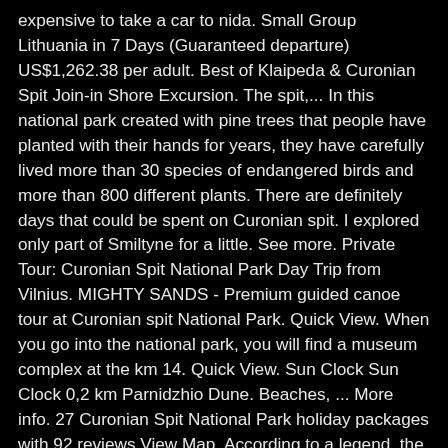expensive to take a car to nida. Small Group Lithuania in 7 Days (Guaranteed departure) US$1,262.38 per adult. Best of Klaipeda & Curonian Spit Join-in Shore Excursion. The spit,... In this national park created with pine trees that people have planted with their hands for years, they have carefully lived more than 30 species of endangered birds and more than 800 different plants. There are definitely days that could be spent on Curonian spit. I explored only part of Smiltyne for a little. See more. Private Tour: Curonian Spit National Park Day Trip from Vilnius. MIGHTY SANDS - Premium guided canoe tour at Curonian spit National Park. Quick View. When you go into the national park, you will find a museum complex at the km 14. Quick View. Sun Clock Sun Clock 0,2 km Parnidzhio Dune. Beaches, ... More info. 27 Curonian Spit National Park holiday packages with 92 reviews View Map. According to a legend, the Curonian Spit was poured of sand by giantess Neringa playing in the seaside. Find the travel option that best suits you. In the middle of the Spit, a border separates the strip of ... This far I have travelled it by bike for two times. Discovery . 11 reviews. Curonian Spit National Park (Russian: Куршская коса) (Also: Kurshskaya Kosa) covers the Russian-owned southern 41 km of the 98 km long, curved Curonian